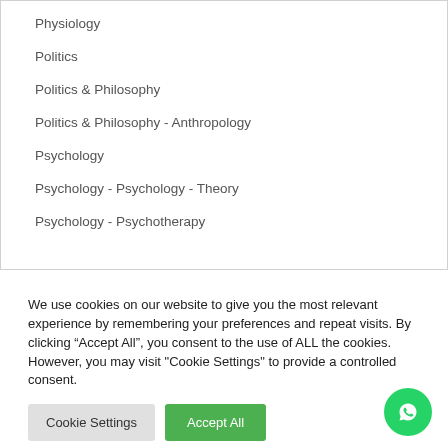Physiology
Politics
Politics & Philosophy
Politics & Philosophy - Anthropology
Psychology
Psychology - Psychology - Theory
Psychology - Psychotherapy
We use cookies on our website to give you the most relevant experience by remembering your preferences and repeat visits. By clicking “Accept All”, you consent to the use of ALL the cookies. However, you may visit "Cookie Settings" to provide a controlled consent.